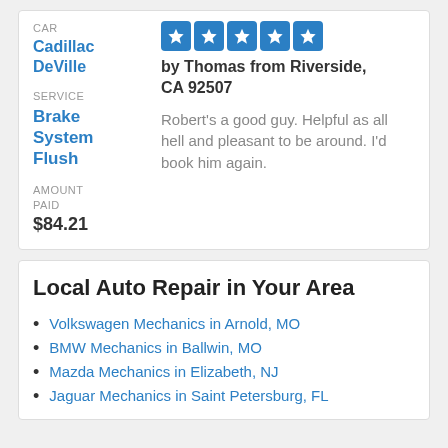CAR
Cadillac DeVille
[Figure (other): 5 blue star rating icons]
by Thomas from Riverside, CA 92507
SERVICE
Brake System Flush
Robert's a good guy. Helpful as all hell and pleasant to be around. I'd book him again.
AMOUNT PAID
$84.21
Local Auto Repair in Your Area
Volkswagen Mechanics in Arnold, MO
BMW Mechanics in Ballwin, MO
Mazda Mechanics in Elizabeth, NJ
Jaguar Mechanics in Saint Petersburg, FL